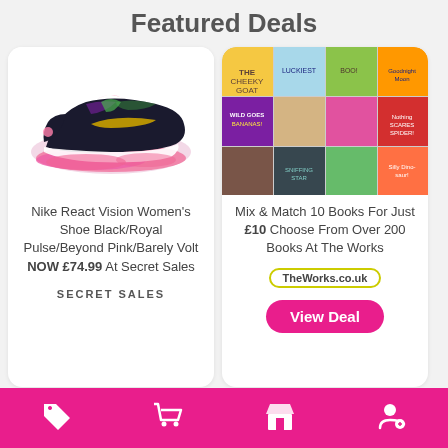Featured Deals
[Figure (photo): Nike React Vision Women's Shoe in black with pink, purple, and yellow accents]
Nike React Vision Women's Shoe Black/Royal Pulse/Beyond Pink/Barely Volt NOW £74.99 At Secret Sales
[Figure (photo): Collage of colorful children's books covers in a grid layout]
Mix & Match 10 Books For Just £10 Choose From Over 200 Books At The Works
TheWorks.co.uk
View Deal
SECRET SALES
Bottom navigation bar with deals, cart, store, and account icons